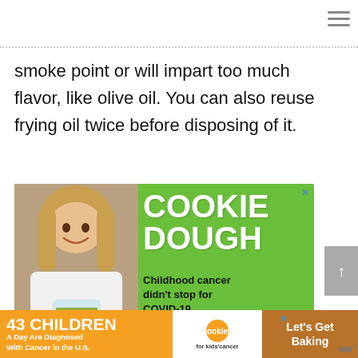smoke point or will impart too much flavor, like olive oil. You can also reuse frying oil twice before disposing of it.
[Figure (photo): Advertisement for cookie dough fundraiser for childhood cancer charity. Green background with a smiling girl holding a jar of money on the left, and large white text 'COOKIE DOUGH' with subtext 'Childhood cancer didn't stop for COVID-19.' on the right.]
[Figure (photo): Bottom banner advertisement: '43 CHILDREN A Day Are Diagnosed With Cancer in the U.S.' on orange background, with cookies for kids' cancer logo, and 'Let's Get Baking' call to action on brown/tan background.]